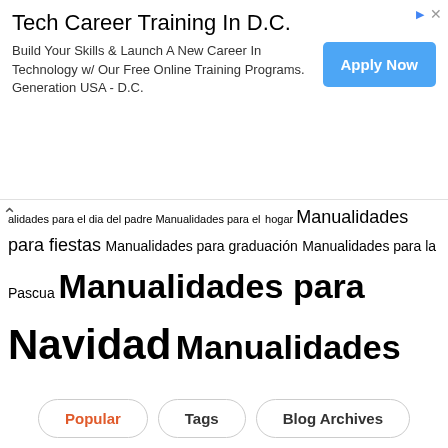[Figure (other): Advertisement banner for Tech Career Training In D.C. with Apply Now button]
alidades para el dia del padre Manualidades para el hogar Manualidades para fiestas Manualidades para graduación Manualidades para la Pascua Manualidades para Navidad Manualidades para niños Manualidades para quince años Manualidades para san valentin Manualidades paso a paso Manualidades Pintura en Madera Manualidades Pintura en tela Maquillaje Mascarillas Me gusta reciclar Me gusta reciclar navidad Mesa de dulces Moldes Moldes para hacer muñecos Muchas ideas para hacer Operación Cuerpo 10 Packaging navideño Peinados paso a paso Piedras Pintadas recetas de cocina reciclamos Remedios caseros Reto fiestas DIY Reto me gusta reciclar Reto Operación Cuerpo 10 Reto packaging navideño Salud tejidos Tips para el hogar Tips para Manualidades Tratamientos para el cabello Tratamientos para la piel video-tutoriales vídeo-tutoriales Videos-Maquillaje
Popular
Tags
Blog Archives